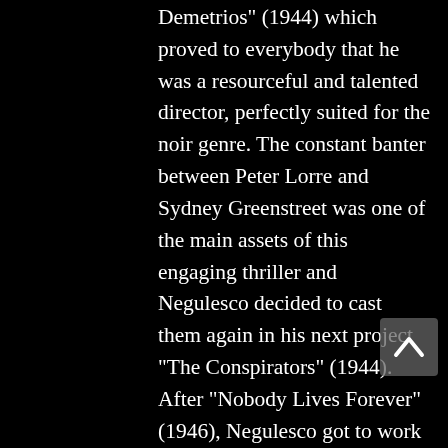Demetrios" (1944) which proved to everybody that he was a resourceful and talented director, perfectly suited for the noir genre. The constant banter between Peter Lorre and Sydney Greenstreet was one of the main assets of this engaging thriller and Negulesco decided to cast them again in his next project "The Conspirators" (1944). After "Nobody Lives Forever" (1946), Negulesco got to work on "Johnny Belinda" (1948). He described it as "the happiest experience of my life. We all loved what we did in it. This was the only time in my career when everybody connected with the film felt themselves an integral part of the project." The film made the studio $4 million but Warner Brothers didn't fully grasp its value and